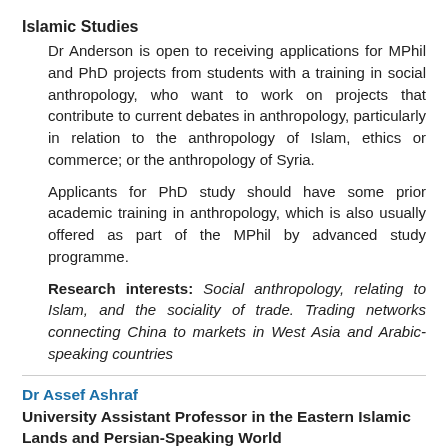Islamic Studies
Dr Anderson is open to receiving applications for MPhil and PhD projects from students with a training in social anthropology, who want to work on projects that contribute to current debates in anthropology, particularly in relation to the anthropology of Islam, ethics or commerce; or the anthropology of Syria.
Applicants for PhD study should have some prior academic training in anthropology, which is also usually offered as part of the MPhil by advanced study programme.
Research interests: Social anthropology, relating to Islam, and the sociality of trade. Trading networks connecting China to markets in West Asia and Arabic-speaking countries
Dr Assef Ashraf
University Assistant Professor in the Eastern Islamic Lands and Persian-Speaking World